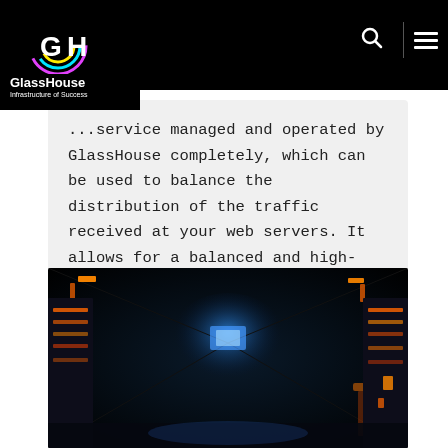GlassHouse — Infrastructure of Success
...service managed and operated by GlassHouse completely, which can be used to balance the distribution of the traffic received at your web servers. It allows for a balanced and high-performance...
[Figure (photo): Dark sci-fi style data center corridor with orange and blue glowing lights]